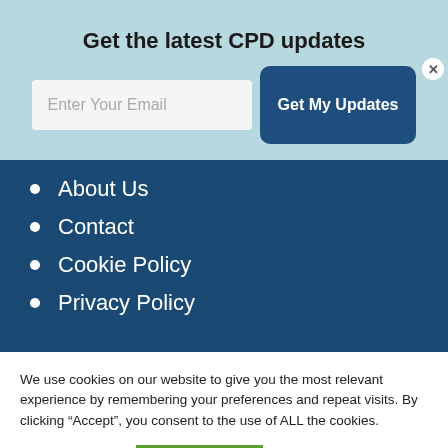Get the latest CPD updates
[Figure (other): Email signup form with text input 'Enter Your Email' and button 'Get My Updates']
About Us
Contact
Cookie Policy
Privacy Policy
We use cookies on our website to give you the most relevant experience by remembering your preferences and repeat visits. By clicking "Accept", you consent to the use of ALL the cookies.
Cookie settings | ACCEPT